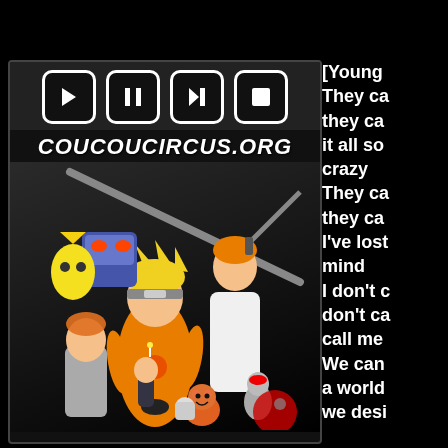[Figure (logo): PayPal donation button with blue background, PayPal logo and text FAIRE UN DON]
[Figure (screenshot): Media player panel showing playback controls (play, pause, skip, stop buttons), website URL coucoucircus.org, and an anime/cartoon illustration featuring multiple characters including Naruto, Bleach, and other anime characters on a dark background]
[Young
They ca
they ca
it all so
crazy
They ca
they ca
I've lost
mind
I don't c
don't ca
call me
We can
a world
we desi